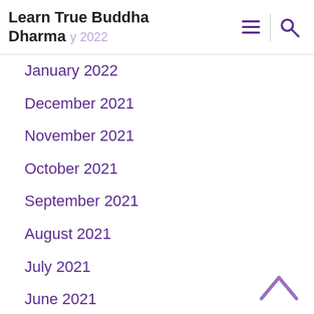Learn True Buddha Dharma
January 2022
December 2021
November 2021
October 2021
September 2021
August 2021
July 2021
June 2021
May 2021
April 2021
August 2020